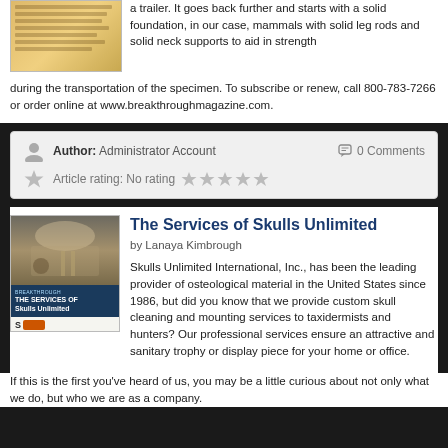a trailer. It goes back further and starts with a solid foundation, in our case, mammals with solid leg rods and solid neck supports to aid in strength during the transportation of the specimen. To subscribe or renew, call 800-783-7266 or order online at www.breakthroughmagazine.com.
Author: Administrator Account   0 Comments
Article rating: No rating ☆☆☆☆☆
The Services of Skulls Unlimited
by Lanaya Kimbrough
Skulls Unlimited International, Inc., has been the leading provider of osteological material in the United States since 1986, but did you know that we provide custom skull cleaning and mounting services to taxidermists and hunters? Our professional services ensure an attractive and sanitary trophy or display piece for your home or office. If this is the first you've heard of us, you may be a little curious about not only what we do, but who we are as a company.